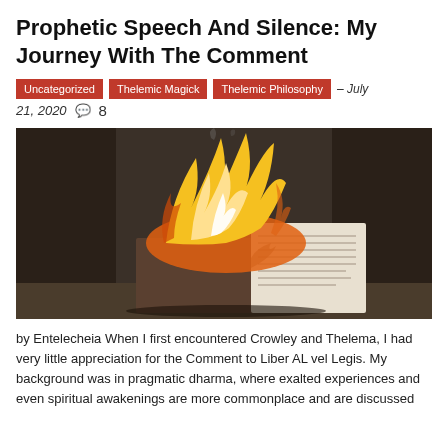Prophetic Speech And Silence: My Journey With The Comment
Uncategorized   Thelemic Magick   Thelemic Philosophy  – July 21, 2020   8
[Figure (photo): A book on fire with large yellow and white flames engulfing it, set against a dark background. The open pages are partially visible on the right side.]
by Entelecheia When I first encountered Crowley and Thelema, I had very little appreciation for the Comment to Liber AL vel Legis. My background was in pragmatic dharma, where exalted experiences and even spiritual awakenings are more commonplace and are discussed